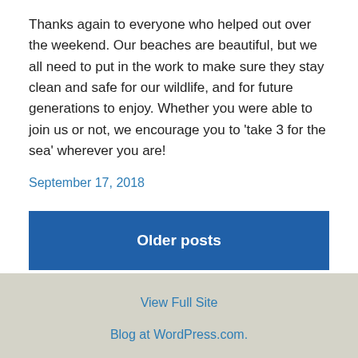Thanks again to everyone who helped out over the weekend. Our beaches are beautiful, but we all need to put in the work to make sure they stay clean and safe for our wildlife, and for future generations to enjoy. Whether you were able to join us or not, we encourage you to ‘take 3 for the sea’ wherever you are!
September 17, 2018
Older posts
View Full Site
Blog at WordPress.com.